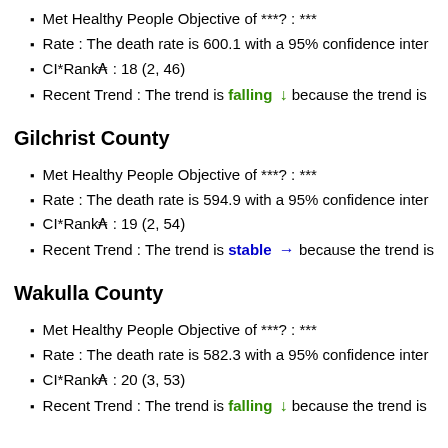Met Healthy People Objective of ***?: ***
Rate : The death rate is 600.1 with a 95% confidence inter
CI*Rank⋕ : 18 (2, 46)
Recent Trend : The trend is falling ↓ because the trend is
Gilchrist County
Met Healthy People Objective of ***?: ***
Rate : The death rate is 594.9 with a 95% confidence inter
CI*Rank⋕ : 19 (2, 54)
Recent Trend : The trend is stable → because the trend is
Wakulla County
Met Healthy People Objective of ***?: ***
Rate : The death rate is 582.3 with a 95% confidence inter
CI*Rank⋕ : 20 (3, 53)
Recent Trend : The trend is falling ↓ because the trend is